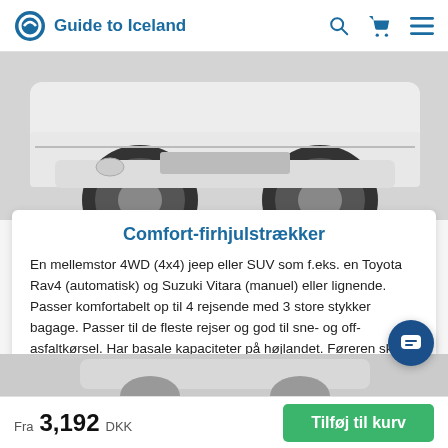Guide to Iceland
[Figure (photo): Close-up of white SUV/jeep front wheels and lower body]
Comfort-firhjulstrækker
En mellemstor 4WD (4x4) jeep eller SUV som f.eks. en Toyota Rav4 (automatisk) og Suzuki Vitara (manuel) eller lignende. Passer komfortabelt op til 4 rejsende med 3 store stykker bagage. Passer til de fleste rejser og god til sne- og off-asfaltkørsel. Har basale kapaciteter på højlandet. Føreren skal være 21 år eller derover.
[Figure (photo): Partial view of a second car/vehicle at the bottom of the page]
Fra 3,192 DKK  Tilføj til kurv